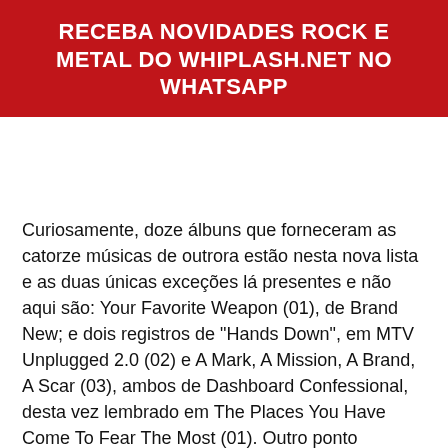RECEBA NOVIDADES ROCK E METAL DO WHIPLASH.NET NO WHATSAPP
Curiosamente, doze álbuns que forneceram as catorze músicas de outrora estão nesta nova lista e as duas únicas exceções lá presentes e não aqui são: Your Favorite Weapon (01), de Brand New; e dois registros de "Hands Down", em MTV Unplugged 2.0 (02) e A Mark, A Mission, A Brand, A Scar (03), ambos de Dashboard Confessional, desta vez lembrado em The Places You Have Come To Fear The Most (01). Outro ponto interessante de comparação é que a dobradinha de My Chemical Romance se repete (com play na primeira posição, aliás!), agora acompanhado por Jimmy Eat World.